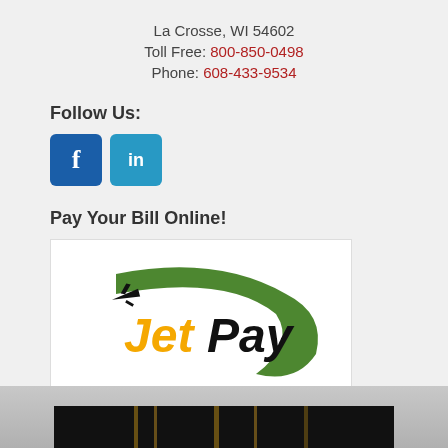La Crosse, WI 54602
Toll Free: 800-850-0498
Phone: 608-433-9534
Follow Us:
[Figure (logo): Facebook and LinkedIn social media icons]
Pay Your Bill Online!
[Figure (logo): JetPay logo with airplane and green swoosh]
[Figure (photo): Partial photo at bottom of page showing dark background]